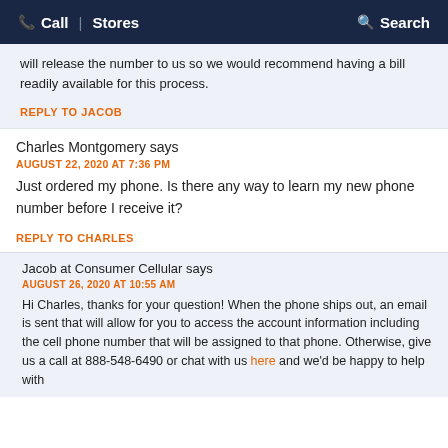Call | Stores Search
will release the number to us so we would recommend having a bill readily available for this process.
REPLY TO JACOB
Charles Montgomery says
AUGUST 22, 2020 AT 7:36 PM
Just ordered my phone. Is there any way to learn my new phone number before I receive it?
REPLY TO CHARLES
Jacob at Consumer Cellular says
AUGUST 26, 2020 AT 10:55 AM
Hi Charles, thanks for your question! When the phone ships out, an email is sent that will allow for you to access the account information including the cell phone number that will be assigned to that phone. Otherwise, give us a call at 888-548-6490 or chat with us here and we'd be happy to help with